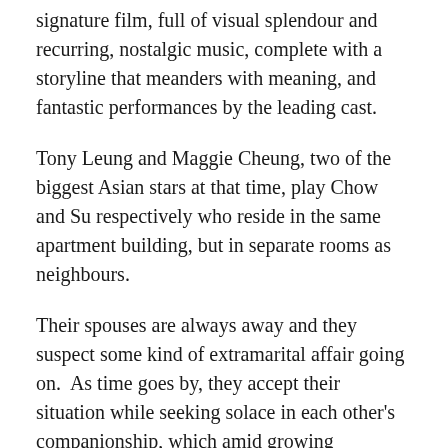signature film, full of visual splendour and recurring, nostalgic music, complete with a storyline that meanders with meaning, and fantastic performances by the leading cast.
Tony Leung and Maggie Cheung, two of the biggest Asian stars at that time, play Chow and Su respectively who reside in the same apartment building, but in separate rooms as neighbours.
Their spouses are always away and they suspect some kind of extramarital affair going on.  As time goes by, they accept their situation while seeking solace in each other's companionship, which amid growing confusion, becomes more than just mutual friendship.